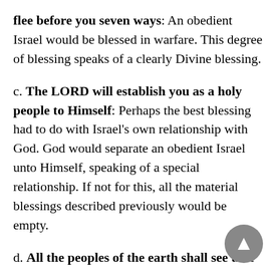flee before you seven ways: An obedient Israel would be blessed in warfare. This degree of blessing speaks of a clearly Divine blessing.
c. The LORD will establish you as a holy people to Himself: Perhaps the best blessing had to do with Israel's own relationship with God. God would separate an obedient Israel unto Himself, speaking of a special relationship. If not for this, all the material blessings described previously would be empty.
d. All the peoples of the earth shall see that you are called by the name of the LORD... the LORD will make you the head and not the tail; you shall be above only, and not be beneath: God's purpose in blessing Israel was greater than just